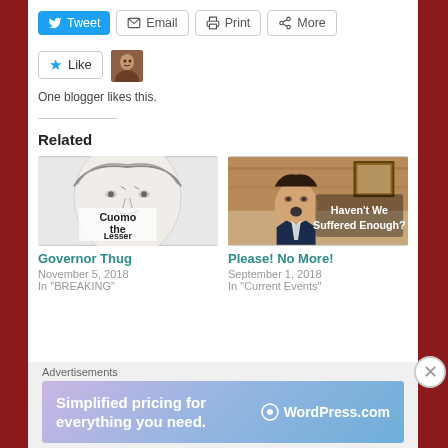[Figure (screenshot): Share buttons row: Tweet (blue), Email, Print, More (outlined)]
[Figure (screenshot): Like button with star icon and avatar thumbnail. Text: One blogger likes this.]
One blogger likes this.
Related
[Figure (illustration): Sketch-style portrait labeled 'Cuomo the Lesser']
Governor Thug
November 5, 2018
In "BREAKING"
[Figure (photo): Photo of a person with text overlay: Haven't We Suffered Enough?]
Please! No More!
September 1, 2018
In "Current Events"
Advertisements
[Figure (screenshot): WordPress.com advertisement banner: Simplified pricing for everything you need.]